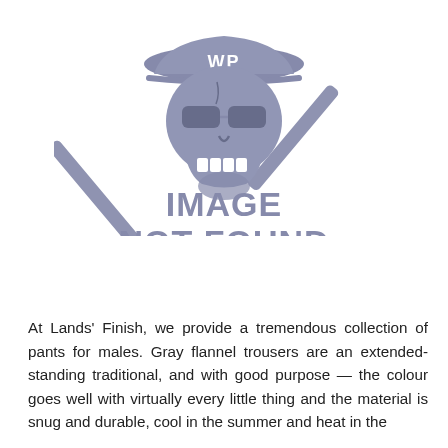[Figure (illustration): A skull wearing a hard hat with 'WP' text and crossed hammers/axes, rendered in grayish-blue color. Below the skull illustration is the text 'IMAGE NOT FOUND' in large bold gray letters.]
At Lands' Finish, we provide a tremendous collection of pants for males. Gray flannel trousers are an extended-standing traditional, and with good purpose — the colour goes well with virtually every little thing and the material is snug and durable, cool in the summer and heat in the